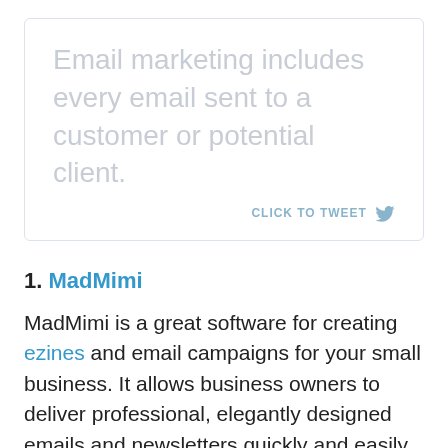Email marketing includes every email sent to a customer or potential client.
CLICK TO TWEET
1. MadMimi
MadMimi is a great software for creating ezines and email campaigns for your small business. It allows business owners to deliver professional, elegantly designed emails and newsletters quickly and easily—it is super